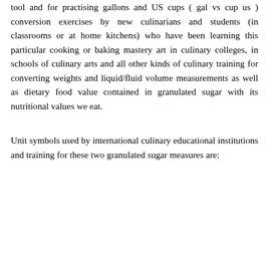tool and for practising gallons and US cups ( gal vs cup us ) conversion exercises by new culinarians and students (in classrooms or at home kitchens) who have been learning this particular cooking or baking mastery art in culinary colleges, in schools of culinary arts and all other kinds of culinary training for converting weights and liquid/fluid volume measurements as well as dietary food value contained in granulated sugar with its nutritional values we eat.
Unit symbols used by international culinary educational institutions and training for these two granulated sugar measures are: